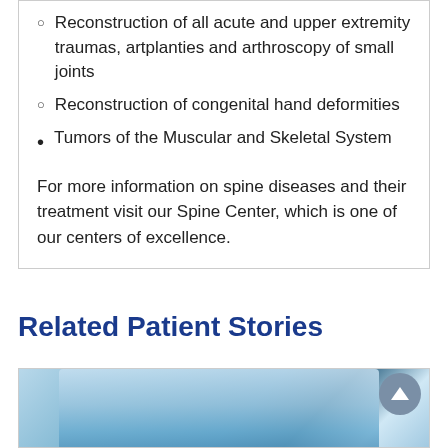Reconstruction of all acute and upper extremity traumas, artplanties and arthroscopy of small joints
Reconstruction of congenital hand deformities
Tumors of the Muscular and Skeletal System
For more information on spine diseases and their treatment visit our Spine Center, which is one of our centers of excellence.
Related Patient Stories
[Figure (photo): Medical/clinical photo showing a doctor or medical professional, with blue-toned lighting, partially visible at the bottom of the page]